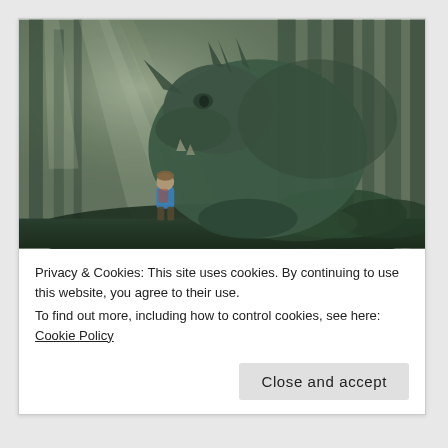[Figure (photo): A large green dragon-like creature in a misty forest with a small child standing in front of it, sunlight filtering through tall trees]
Privacy & Cookies: This site uses cookies. By continuing to use this website, you agree to their use.
To find out more, including how to control cookies, see here: Cookie Policy
Close and accept